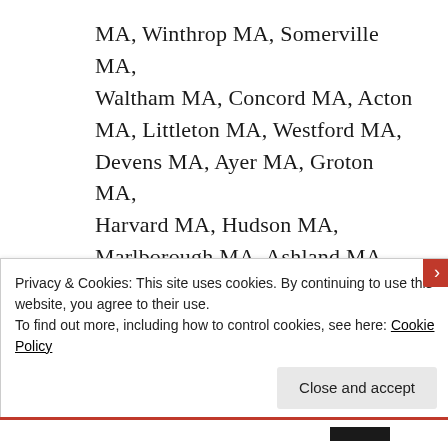MA, Winthrop MA, Somerville MA, Waltham MA, Concord MA, Acton MA, Littleton MA, Westford MA, Devens MA, Ayer MA, Groton MA, Harvard MA, Hudson MA, Marlborough MA, Ashland MA, Framington MA, Wellesley MA, Brookline MA, Debham MA, Westwood MA, Norwood MA, Braintree MA, Quincy MA,
Privacy & Cookies: This site uses cookies. By continuing to use this website, you agree to their use.
To find out more, including how to control cookies, see here: Cookie Policy
Close and accept